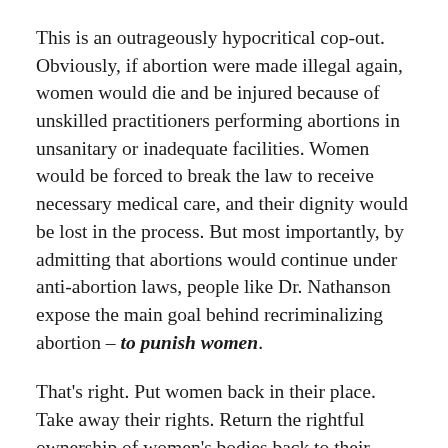This is an outrageously hypocritical cop-out. Obviously, if abortion were made illegal again, women would die and be injured because of unskilled practitioners performing abortions in unsanitary or inadequate facilities. Women would be forced to break the law to receive necessary medical care, and their dignity would be lost in the process. But most importantly, by admitting that abortions would continue under anti-abortion laws, people like Dr. Nathanson expose the main goal behind recriminalizing abortion – to punish women.
That's right. Put women back in their place. Take away their rights. Return the rightful ownership of women's bodies back to their husbands. That's what it's all about. Ultimately, the reason abortion is such an explosive political issue is because it raises deep fears about the equality of women. Legal abortion on